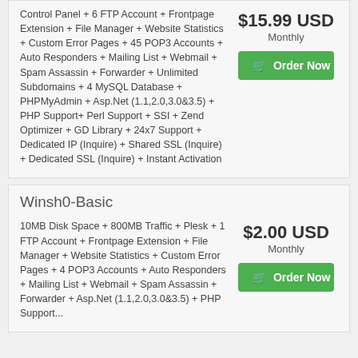Control Panel + 6 FTP Account + Frontpage Extension + File Manager + Website Statistics + Custom Error Pages + 45 POP3 Accounts + Auto Responders + Mailing List + Webmail + Spam Assassin + Forwarder + Unlimited Subdomains + 4 MySQL Database + PHPMyAdmin + Asp.Net (1.1,2.0,3.0&3.5) + PHP Support+ Perl Support + SSI + Zend Optimizer + GD Library + 24x7 Support + Dedicated IP (Inquire) + Shared SSL (Inquire) + Dedicated SSL (Inquire) + Instant Activation
$15.99 USD
Monthly
Order Now
Winsh0-Basic
10MB Disk Space + 800MB Traffic + Plesk + 1 FTP Account + Frontpage Extension + File Manager + Website Statistics + Custom Error Pages + 4 POP3 Accounts + Auto Responders + Mailing List + Webmail + Spam Assassin + Forwarder + Asp.Net (1.1,2.0,3.0&3.5) + PHP Support...
$2.00 USD
Monthly
Order Now